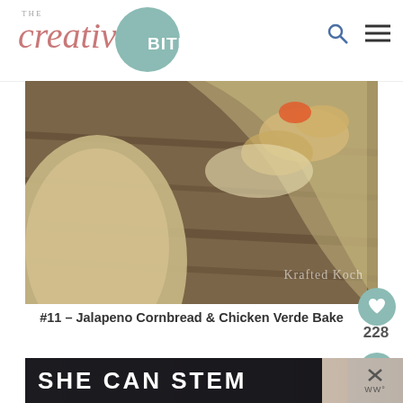[Figure (logo): The Creative Bite logo with cursive pink text and teal circle]
[Figure (photo): Close-up food photo of jalapeno cornbread and chicken verde bake in a ceramic dish, with watermark 'Krafted Koch']
#11 – Jalapeno Cornbread & Chicken Verde Bake
[Figure (infographic): Bottom banner with 'SHE CAN STEM' text on dark background]